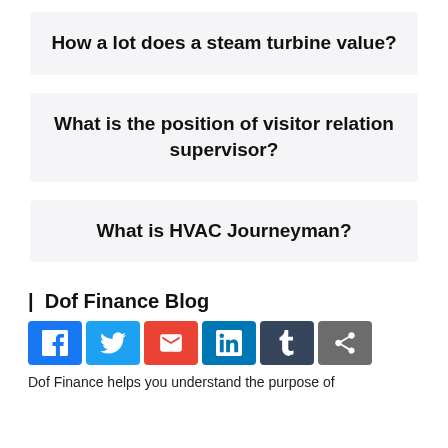How a lot does a steam turbine value?
What is the position of visitor relation supervisor?
What is HVAC Journeyman?
| Dof Finance Blog
[Figure (other): Social sharing icons: Facebook, Twitter, Email, LinkedIn, Tumblr, Share]
Dof Finance helps you understand the purpose of